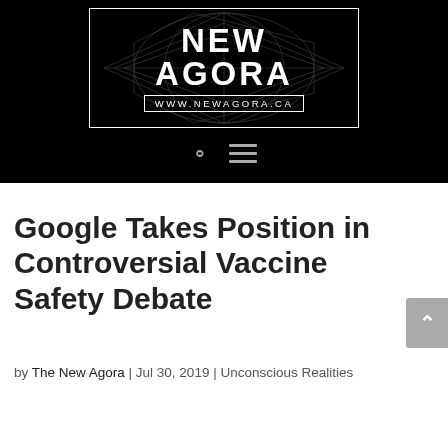[Figure (logo): New Agora logo on black background with geometric diamond pattern. White text reads 'NEW AGORA' and 'www.NewAgora.ca' inside a white-bordered rectangle.]
Google Takes Position in Controversial Vaccine Safety Debate
by The New Agora | Jul 30, 2019 | Unconscious Realities